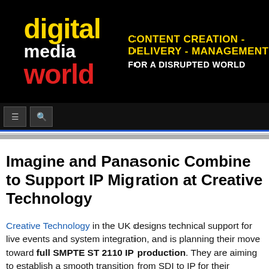[Figure (logo): Digital Media World logo with tagline: CONTENT CREATION - DELIVERY - MANAGEMENT FOR A DISRUPTED WORLD]
digital media world — CONTENT CREATION - DELIVERY - MANAGEMENT FOR A DISRUPTED WORLD
Imagine and Panasonic Combine to Support IP Migration at Creative Technology
Creative Technology in the UK designs technical support for live events and system integration, and is planning their move toward full SMPTE ST 2110 IP production. They are aiming to establish a smooth transition from SDI to IP for their production teams and an effective, consistent experience for clients around the world. Sid Lobb, head of vision and integrated networks at Creative Technology, said that the comfort level of their broadcast engineers and project managers by familiarising with IP hardware was one of their primary concerns.